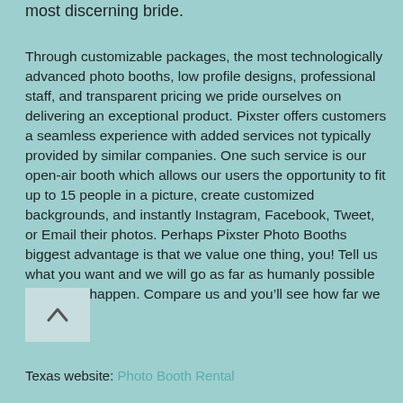most discerning bride.
Through customizable packages, the most technologically advanced photo booths, low profile designs, professional staff, and transparent pricing we pride ourselves on delivering an exceptional product. Pixster offers customers a seamless experience with added services not typically provided by similar companies. One such service is our open-air booth which allows our users the opportunity to fit up to 15 people in a picture, create customized backgrounds, and instantly Instagram, Facebook, Tweet, or Email their photos. Perhaps Pixster Photo Booths biggest advantage is that we value one thing, you! Tell us what you want and we will go as far as humanly possible to make it happen. Compare us and you'll see how far we stand out!
[Figure (other): A light-colored square button with an upward-pointing caret/chevron icon]
Texas website: Photo Booth Rental